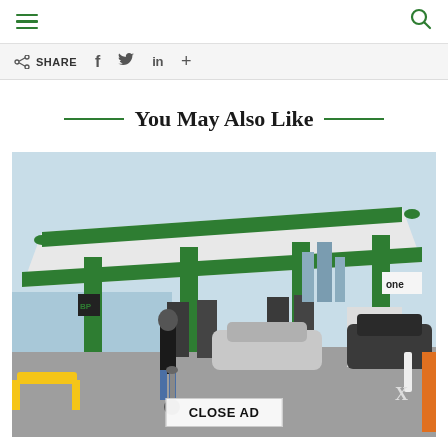Navigation header with hamburger menu and search icon
SHARE   f   in   +
You May Also Like
[Figure (photo): Outdoor photo of a BP green-and-white gas station canopy with green columns, a person in dark clothing standing with a scooter in the foreground, cars at pumps, city skyline and waterfront in the background, bright daytime]
CLOSE AD